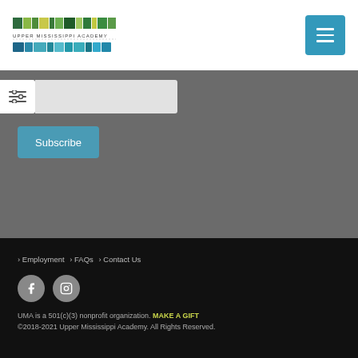[Figure (logo): Upper Mississippi Academy logo with colorful striped graphic and text]
[Figure (screenshot): Blue hamburger menu button in top right corner]
[Figure (screenshot): Filter/slider icon on gray input bar]
Subscribe
Employment
FAQs
Contact Us
[Figure (screenshot): Facebook icon circle]
[Figure (screenshot): Instagram icon circle]
UMA is a 501(c)(3) nonprofit organization. MAKE A GIFT
©2018-2021 Upper Mississippi Academy. All Rights Reserved.